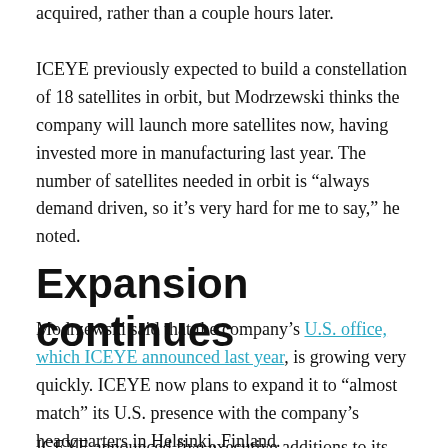acquired, rather than a couple hours later.
ICEYE previously expected to build a constellation of 18 satellites in orbit, but Modrzewski thinks the company will launch more satellites now, having invested more in manufacturing last year. The number of satellites needed in orbit is “always demand driven, so it’s very hard for me to say,” he noted.
Expansion continues
Modrzewski said that the company’s U.S. office, which ICEYE announced last year, is growing very quickly. ICEYE now plans to expand it to “almost match” its U.S. presence with the company’s headquarters in Helsinki, Finland.
ICEYE announced five executive additions to its leadership team Wednesday, to help its further growth. The company